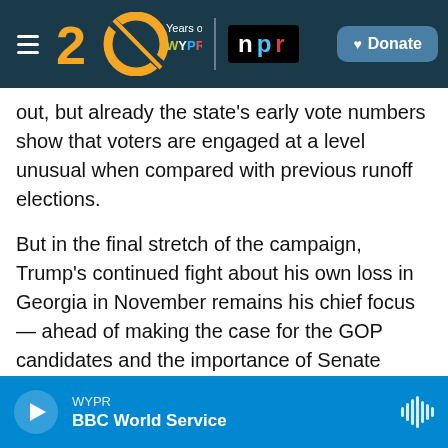[Figure (screenshot): WYPR 20 Years and NPR navigation bar with Donate button]
out, but already the state's early vote numbers show that voters are engaged at a level unusual when compared with previous runoff elections.
But in the final stretch of the campaign, Trump's continued fight about his own loss in Georgia in November remains his chief focus — ahead of making the case for the GOP candidates and the importance of Senate control.
He has touted false claims and, in a stunning one-hour phone call with Raffensperger on Saturday, pressed him to overturn the results of that election.
[Figure (screenshot): WYPR BBC World Service audio player bar at the bottom]